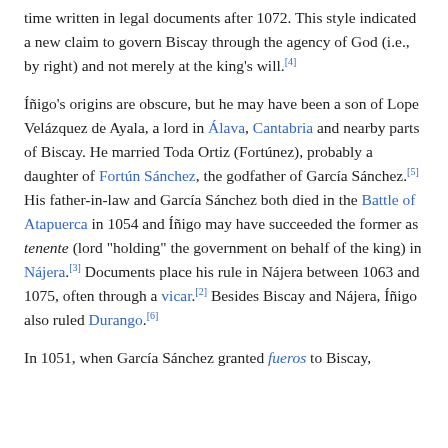time written in legal documents after 1072. This style indicated a new claim to govern Biscay through the agency of God (i.e., by right) and not merely at the king's will.[4]
Íñigo's origins are obscure, but he may have been a son of Lope Velázquez de Ayala, a lord in Álava, Cantabria and nearby parts of Biscay. He married Toda Ortiz (Fortúnez), probably a daughter of Fortún Sánchez, the godfather of García Sánchez.[5] His father-in-law and García Sánchez both died in the Battle of Atapuerca in 1054 and Íñigo may have succeeded the former as tenente (lord "holding" the government on behalf of the king) in Nájera.[3] Documents place his rule in Nájera between 1063 and 1075, often through a vicar.[2] Besides Biscay and Nájera, Íñigo also ruled Durango.[6]
In 1051, when García Sánchez granted fueros to Biscay,